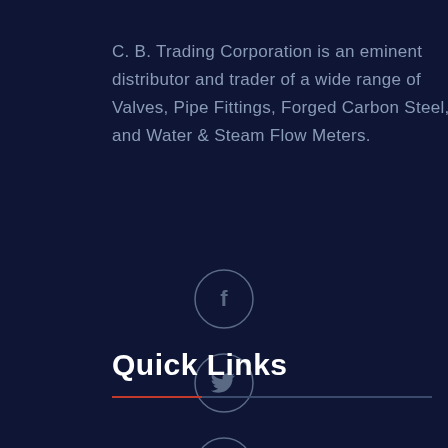C. B. Trading Corporation is an eminent distributor and trader of a wide range of Valves, Pipe Fittings, Forged Carbon Steel, and Water & Steam Flow Meters.
[Figure (illustration): Four social media icon circles stacked vertically: Facebook (f), Twitter (bird), Pinterest (p), YouTube (play button). Each is a circle outline with icon inside, rendered in muted gray on dark navy background.]
Quick Links